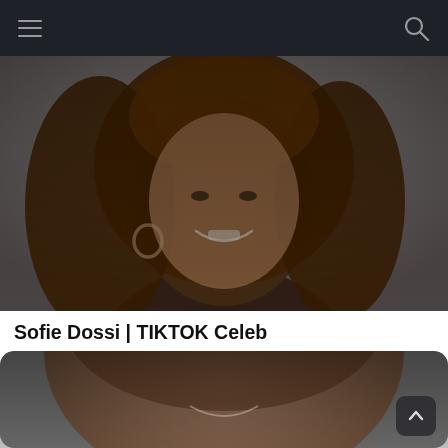Navigation bar with hamburger menu and search icon
[Figure (photo): Portrait photo of a young woman with curly auburn hair, smiling, wearing hoop earrings, on a light grey background. Image is darkened.]
Sofie Dossi | TIKTOK Celeb
6.1k Shares
by VideoFeed TV · about a year ago
[Figure (photo): Partially visible portrait photo at bottom of page, cropped, showing a person smiling.]